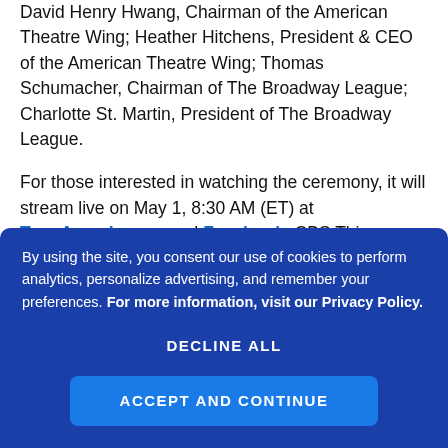David Henry Hwang, Chairman of the American Theatre Wing; Heather Hitchens, President & CEO of the American Theatre Wing; Thomas Schumacher, Chairman of The Broadway League; Charlotte St. Martin, President of The Broadway League.
For those interested in watching the ceremony, it will stream live on May 1, 8:30 AM (ET) at TonyAwards.com and Facebook. CBS This Morning will also air the event as part of its coverage...
By using the site, you consent our use of cookies to perform analytics, personalize advertising, and remember your preferences. For more information, visit our Privacy Policy.
DECLINE ALL
ACCEPT AND CONTINUE